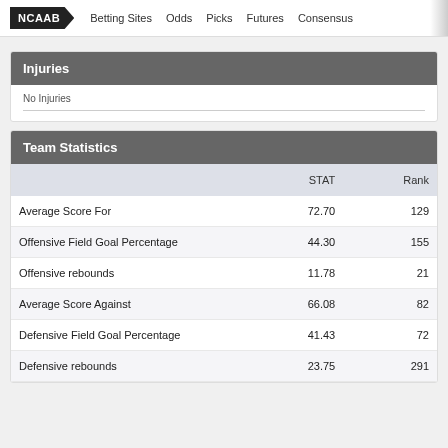NCAAB  Betting Sites  Odds  Picks  Futures  Consensus
Injuries
No Injuries
Team Statistics
|  | STAT | Rank |
| --- | --- | --- |
| Average Score For | 72.70 | 129 |
| Offensive Field Goal Percentage | 44.30 | 155 |
| Offensive rebounds | 11.78 | 21 |
| Average Score Against | 66.08 | 82 |
| Defensive Field Goal Percentage | 41.43 | 72 |
| Defensive rebounds | 23.75 | 291 |